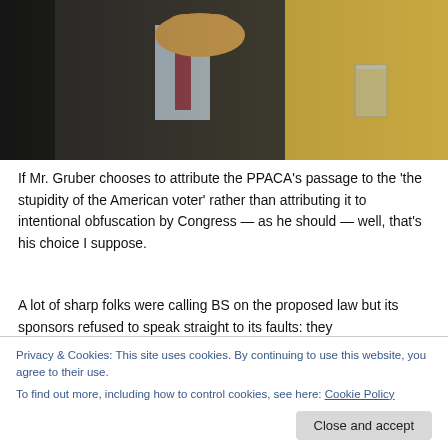[Figure (photo): A man in a dark business suit with a light blue shirt and reddish tie, hands clasped or gesturing, seated at a table with a glass of water, in front of a wooden background. Another person partially visible on the left.]
If Mr. Gruber chooses to attribute the PPACA’s passage to the ‘the stupidity of the American voter’ rather than attributing it to intentional obfuscation by Congress — as he should — well, that’s his choice I suppose.
A lot of sharp folks were calling BS on the proposed law but its sponsors refused to speak straight to its faults: they
Privacy & Cookies: This site uses cookies. By continuing to use this website, you agree to their use.
To find out more, including how to control cookies, see here: Cookie Policy